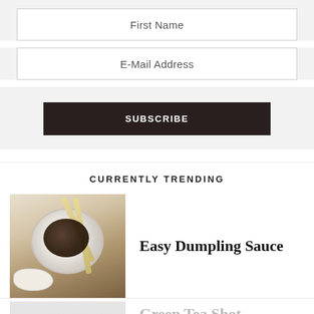First Name
E-Mail Address
SUBSCRIBE
CURRENTLY TRENDING
[Figure (photo): Bowl of dumpling dipping sauce with chopsticks resting in it, and dumplings visible at the edge]
Easy Dumpling Sauce
[Figure (photo): Partially visible image for Green Tea Shot article]
Green Tea Shot – Here's How To Make